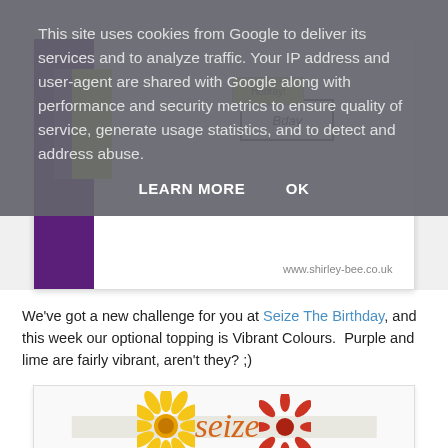[Figure (photo): Close-up of a birthday card with purple border, lime green strip, and a 'Birthday' stamp, with watermark www.shirley-bee.co.uk]
We've got a new challenge for you at Seize The Birthday, and this week our optional topping is Vibrant Colours. Purple and lime are fairly vibrant, aren't they? ;)
[Figure (logo): Seize The Birthday logo with yellow sunflower, red flower, and stylized 'seize' text in orange on a ribbon banner]
This site uses cookies from Google to deliver its services and to analyze traffic. Your IP address and user-agent are shared with Google along with performance and security metrics to ensure quality of service, generate usage statistics, and to detect and address abuse.
LEARN MORE   OK